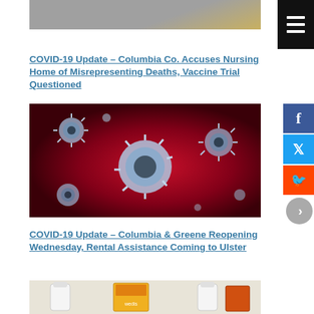[Figure (photo): Road scene with yellow vehicle/equipment at top of page]
COVID-19 Update – Columbia Co. Accuses Nursing Home of Misrepresenting Deaths, Vaccine Trial Questioned
[Figure (photo): Close-up microscopic image of COVID-19 coronavirus particles on red background]
COVID-19 Update – Columbia & Greene Reopening Wednesday, Rental Assistance Coming to Ulster
[Figure (photo): Grocery items including milk jugs and food packages]